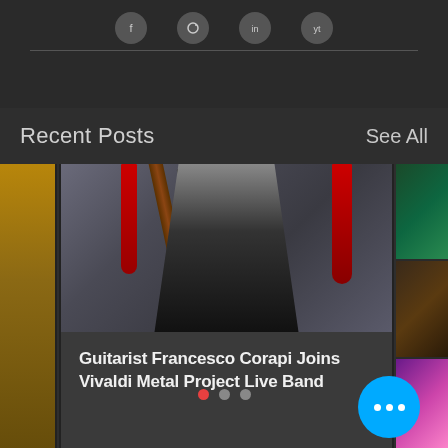[Figure (screenshot): Top bar with social media icons and a horizontal divider line]
Recent Posts
See All
[Figure (photo): Center card showing guitarist Francesco Corapi holding a guitar, with electric guitars hanging on wall in background]
Guitarist Francesco Corapi Joins Vivaldi Metal Project Live Band
[Figure (photo): Right partial thumbnails: teal guitar, dark guitar, colorful art]
[Figure (other): Pagination dots: red active dot and two gray inactive dots]
[Figure (other): Blue FAB button with three white dots]